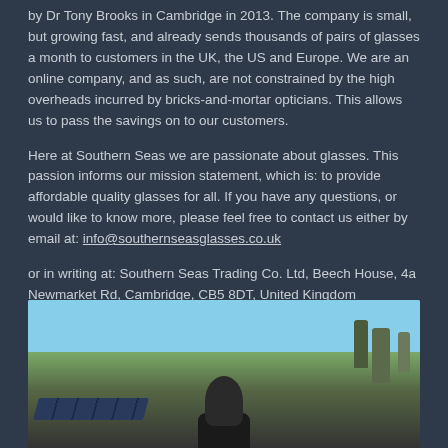by Dr Tony Brooks in Cambridge in 2013. The company is small, but growing fast, and already sends thousands of pairs of glasses a month to customers in the UK, the US and Europe. We are an online company, and as such, are not constrained by the high overheads incurred by bricks-and-mortar opticians. This allows us to pass the savings on to our customers.
Here at Southern Seas we are passionate about glasses. This passion informs our mission statement, which is: to provide affordable quality glasses for all. If you have any questions, or would like to know more, please feel free to contact us either by email at: info@southernseasglasses.co.uk
or in writing at: Southern Seas Trading Co. Ltd, Beech House, 4a Newmarket Rd, Cambridge, CB5 8DT, United Kingdom
[Figure (photo): Outdoor photo of a man standing in a rural/countryside setting with blue sky, trees in background, and what appears to be solar panels to the lower left. The person is wearing dark clothing.]